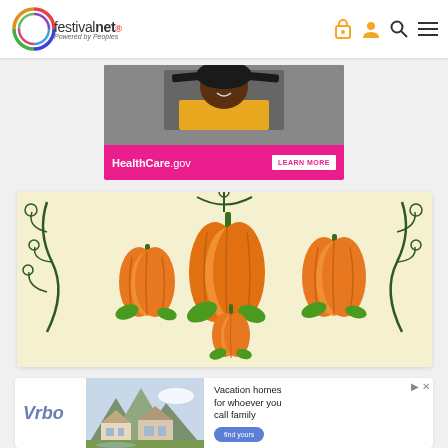[Figure (logo): FestivalNet logo with circular colorful icon and text 'festivalnet. Powered by Peoples']
[Figure (illustration): Navigation icons: lock, person, search, hamburger menu in orange color]
[Figure (photo): HealthCare.gov advertisement banner showing a young woman holding a skateboard wearing a yellow shirt, with pink bottom bar saying 'HealthCare.gov LEARN MORE']
[Figure (illustration): Pumpkin festival card showing illustrated pumpkins with green vines and leaves on a cream/yellow background]
[Figure (photo): Vrbo advertisement showing vacation home with mountains in background, text 'Vacation homes for whoever you call family' with 'find yours' button]